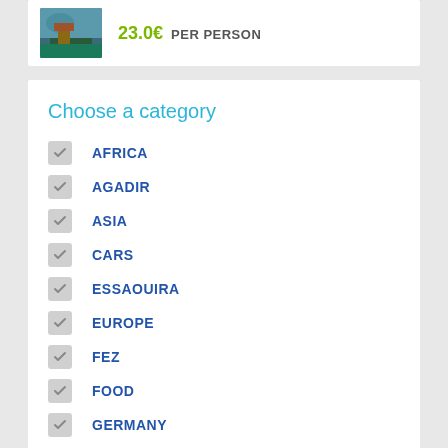23.0€  PER PERSON
Choose a category
AFRICA
AGADIR
ASIA
CARS
ESSAOUIRA
EUROPE
FEZ
FOOD
GERMANY